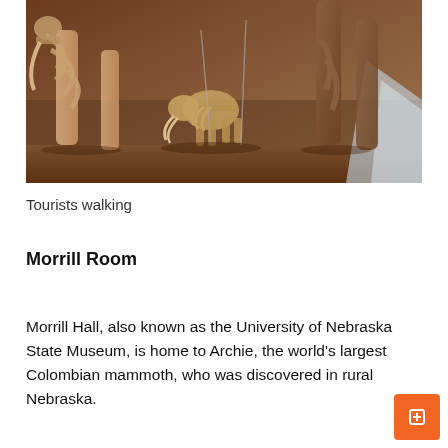[Figure (photo): Museum display of mammoth and prehistoric animal skeletons mounted in a natural habitat diorama setting, showing large bones and a smaller juvenile skeleton in the center.]
Tourists walking
Morrill Room
Morrill Hall, also known as the University of Nebraska State Museum, is home to Archie, the world's largest Colombian mammoth, who was discovered in rural Nebraska.